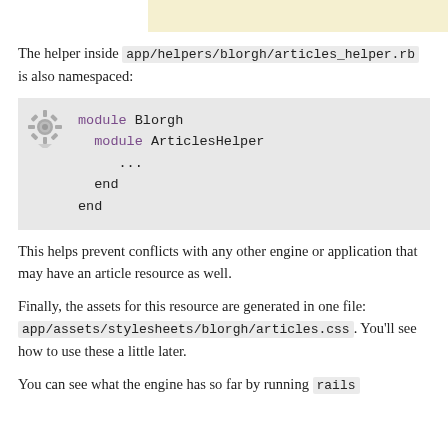The helper inside app/helpers/blorgh/articles_helper.rb is also namespaced:
[Figure (screenshot): Code block showing Ruby module Blorgh containing module ArticlesHelper with ellipsis and end statements, with a gear icon on the left side.]
This helps prevent conflicts with any other engine or application that may have an article resource as well.
Finally, the assets for this resource are generated in one file: app/assets/stylesheets/blorgh/articles.css. You'll see how to use these a little later.
You can see what the engine has so far by running rails